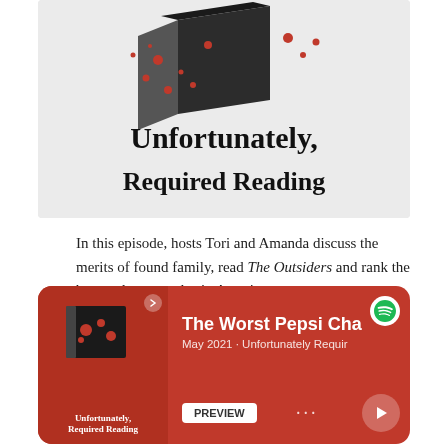[Figure (illustration): Podcast artwork for 'Unfortunately, Required Reading' showing a book with red blood splatters on a light background, with stylized handwritten title text]
In this episode, hosts Tori and Amanda discuss the merits of found family, read The Outsiders and rank the best and worst colas in America.
[Figure (screenshot): Spotify player card showing episode 'The Worst Pepsi Cha...' from May 2021 · Unfortunately Requir... with podcast thumbnail, preview button, play button, and Spotify logo]